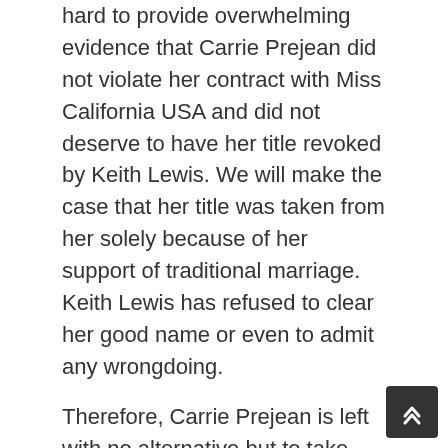hard to provide overwhelming evidence that Carrie Prejean did not violate her contract with Miss California USA and did not deserve to have her title revoked by Keith Lewis. We will make the case that her title was taken from her solely because of her support of traditional marriage. Keith Lewis has refused to clear her good name or even to admit any wrongdoing.
Therefore, Carrie Prejean is left with no alternative but to take her case to court where she expects to be fully vindicated."
[source]
In response, Shanna Moakler released a statement through her attorney.
“On Ms. Moakler's behalf, I can say unequivocally that Ms. Prejean's lawsuit is